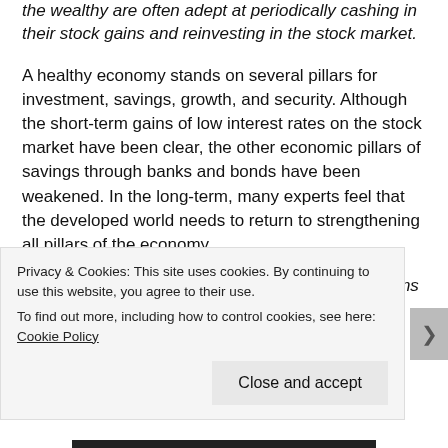the wealthy are often adept at periodically cashing in their stock gains and reinvesting in the stock market.
A healthy economy stands on several pillars for investment, savings, growth, and security. Although the short-term gains of low interest rates on the stock market have been clear, the other economic pillars of savings through banks and bonds have been weakened. In the long-term, many experts feel that the developed world needs to return to strengthening all pillars of the economy.
In light of the fact that many recent political problems are related to the paradigm shift occurring economically, it's advisable that we all try to do our part to be proactive with our
Privacy & Cookies: This site uses cookies. By continuing to use this website, you agree to their use.
To find out more, including how to control cookies, see here: Cookie Policy